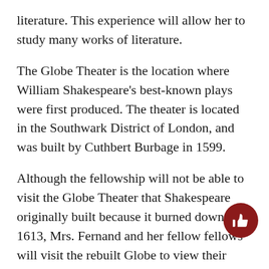literature. This experience will allow her to study many works of literature.
The Globe Theater is the location where William Shakespeare’s best-known plays were first produced. The theater is located in the Southwark District of London, and was built by Cuthbert Burbage in 1599.
Although the fellowship will not be able to visit the Globe Theater that Shakespeare originally built because it burned down in 1613, Mrs. Fernand and her fellow fellows will visit the rebuilt Globe to view their beloved plays.
Mrs. Fernand has seen both Macbeth and Hamlet on stage. Of his many masterpieces, she favors Twelfth Night, because Fernand states that it is “one of his best comedies.”
The Bard’s vivid characters have impacted Mrs